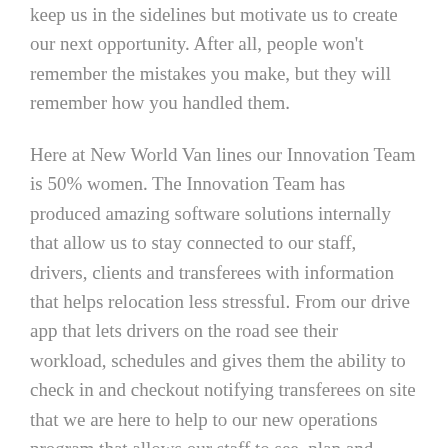keep us in the sidelines but motivate us to create our next opportunity. After all, people won't remember the mistakes you make, but they will remember how you handled them.
Here at New World Van lines our Innovation Team is 50% women. The Innovation Team has produced amazing software solutions internally that allow us to stay connected to our staff, drivers, clients and transferees with information that helps relocation less stressful. From our drive app that lets drivers on the road see their workload, schedules and gives them the ability to check in and checkout notifying transferees on site that we are here to help to our new operations program that allows our staff to see, plan and schedule all services needed for a move from one